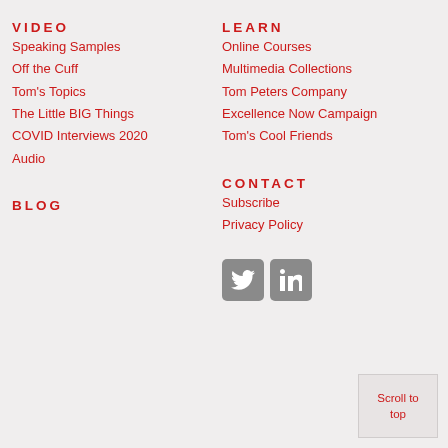VIDEO
Speaking Samples
Off the Cuff
Tom's Topics
The Little BIG Things
COVID Interviews 2020
Audio
BLOG
LEARN
Online Courses
Multimedia Collections
Tom Peters Company
Excellence Now Campaign
Tom's Cool Friends
CONTACT
Subscribe
Privacy Policy
[Figure (illustration): Twitter and LinkedIn social media icons (grey square rounded buttons)]
Scroll to top